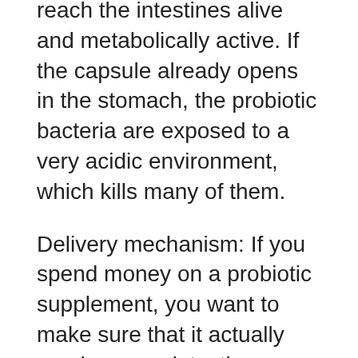reach the intestines alive and metabolically active. If the capsule already opens in the stomach, the probiotic bacteria are exposed to a very acidic environment, which kills many of them.
Delivery mechanism: If you spend money on a probiotic supplement, you want to make sure that it actually reaches your intestines. Ideally, look for a probiotic with a clinically tested delivery mechanism to ensure high survival rates.
Omni-Biotic probiotics come in powder form. This was specifically chosen for its highly effective delivery to the intestines. The freeze-dried bacteria are mixed with important prebiotic